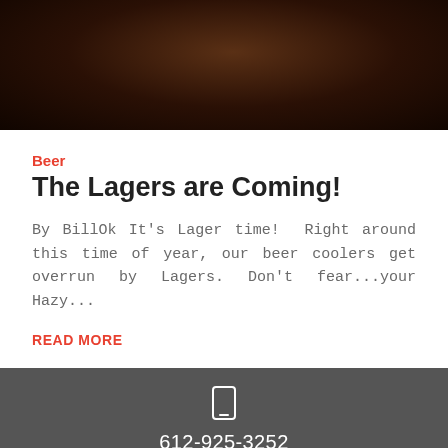[Figure (photo): Dark brown background photo, likely a beer glass or brewing scene, partially cropped at top]
Beer
The Lagers are Coming!
By BillOk It's Lager time!  Right around this time of year, our beer coolers get overrun by Lagers. Don't fear...your Hazy...
READ MORE
612-925-3252